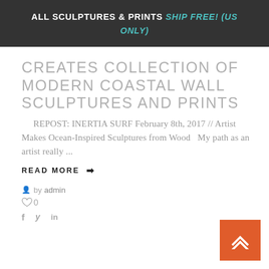ALL SCULPTURES & PRINTS SHIP FREE! (US ONLY)
CREATES COLLECTION OF MODERN COASTAL WALL SCULPTURES AND PRINTS
REPOST: INERTIA SURF February 8th, 2017 // Artist Makes Ocean-Inspired Sculptures from Wood   My path as an artist really ...
READ MORE ➡
by admin
0
f  y  in